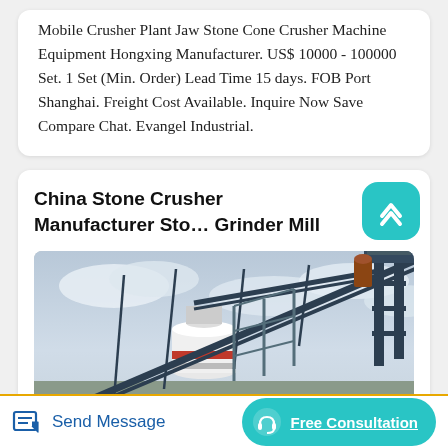Mobile Crusher Plant Jaw Stone Cone Crusher Machine Equipment Hongxing Manufacturer. US$ 10000 - 100000 Set. 1 Set (Min. Order) Lead Time 15 days. FOB Port Shanghai. Freight Cost Available. Inquire Now Save Compare Chat. Evangel Industrial.
China Stone Crusher Manufacturer Stone Grinder Mill
[Figure (photo): Industrial stone crusher machine/cone crusher equipment with steel structural framework and conveyor belts against a cloudy sky background]
Send Message
Free Consultation